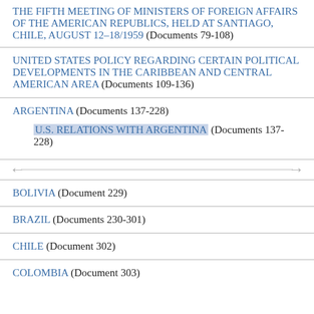THE FIFTH MEETING OF MINISTERS OF FOREIGN AFFAIRS OF THE AMERICAN REPUBLICS, HELD AT SANTIAGO, CHILE, AUGUST 12–18/1959 (Documents 79-108)
UNITED STATES POLICY REGARDING CERTAIN POLITICAL DEVELOPMENTS IN THE CARIBBEAN AND CENTRAL AMERICAN AREA (Documents 109-136)
ARGENTINA (Documents 137-228)
U.S. RELATIONS WITH ARGENTINA (Documents 137-228)
BOLIVIA (Document 229)
BRAZIL (Documents 230-301)
CHILE (Document 302)
COLOMBIA (Document 303)